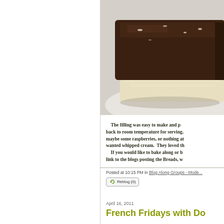[Figure (photo): Close-up photo of a chocolate dessert bar with cream filling on a white plate, chocolate ganache top visible]
The filling was easy to make and p... back to room temperature for serving. maybe some raspberries, or nothing at... wanted whipped cream. They loved th... If you would like to bake along or b... link to the blogs posting the Breads, w...
Posted at 10:15 PM in Blog Along Groups - Mode...
Reblog (0)
April 16, 2011
French Fridays with Do...